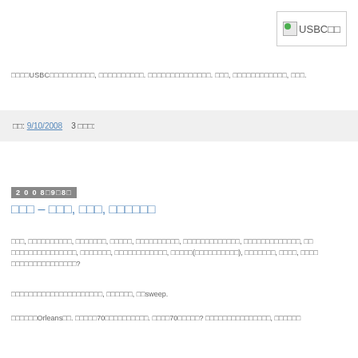[Figure (logo): USBC logo image with green icon and text 'USBC' and two CJK characters]
□□□□USBC□□□□□□□□□□, □□□□□□□□□□. □□□□□□□□□□□□□□. □□□, □□□□□□□□□□□□, □□□.
□□: 9/10/2008    3 □□□:
2008□9□8□
□□□ – □□□, □□□, □□□□□□
□□□, □□□□□□□□□□, □□□□□□□, □□□□□, □□□□□□□□□□, □□□□□□□□□□□□□, □□□□□□□□□□□□□, □□ □□□□□□□□□□□□□□□, □□□□□□□, □□□□□□□□□□□□, □□□□□(□□□□□□□□□□), □□□□□□□, □□□□, □□□□ □□□□□□□□□□□□□□□?
□□□□□□□□□□□□□□□□□□□□□, □□□□□□, □□sweep.
□□□□□□Orleans□□. □□□□□70□□□□□□□□□□. □□□□70□□□□□? □□□□□□□□□□□□□□□, □□□□□□